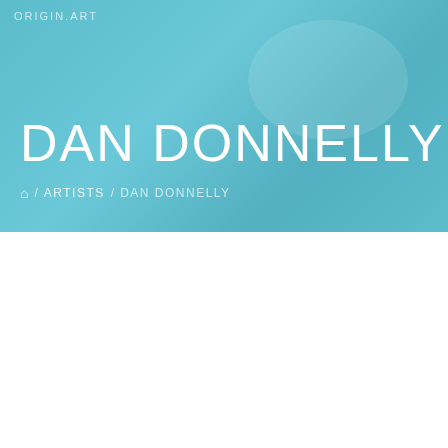ORIGIN ART
DAN DONNELLY
🏠 / ARTISTS / DAN DONNELLY